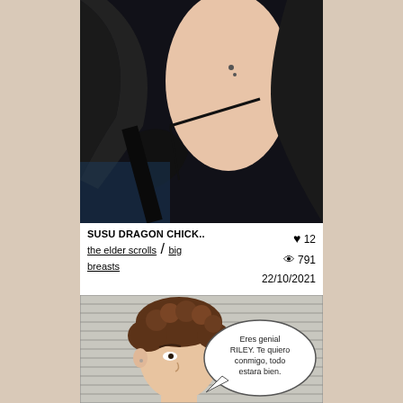[Figure (photo): Close-up photo from a video game (The Elder Scrolls) showing a female character in black outfit/armor, dark background with some blue tones]
SUSU DRAGON CHICK..
the elder scrolls / big breasts
♥ 12  👁 791  22/10/2021
[Figure (illustration): Comic/manga style illustration showing a young male character with curly brown hair, with a speech bubble in Spanish reading 'Eres genial RILEY. Te quiero conmigo, todo estara bien.']